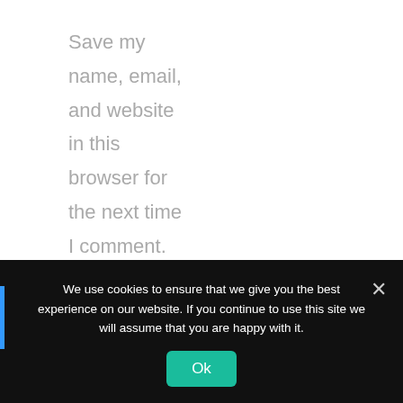Save my name, email, and website in this browser for the next time I comment.
POST COMMENT
We use cookies to ensure that we give you the best experience on our website. If you continue to use this site we will assume that you are happy with it.
Ok